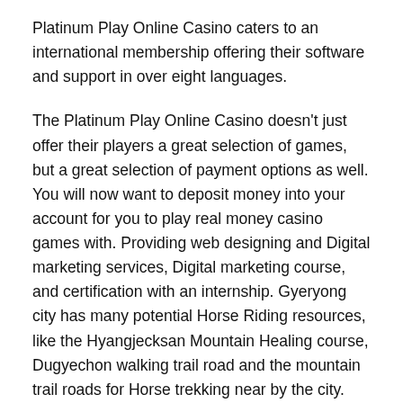Platinum Play Online Casino caters to an international membership offering their software and support in over eight languages.
The Platinum Play Online Casino doesn't just offer their players a great selection of games, but a great selection of payment options as well. You will now want to deposit money into your account for you to play real money casino games with. Providing web designing and Digital marketing services, Digital marketing course, and certification with an internship. Gyeryong city has many potential Horse Riding resources, like the Hyangjecksan Mountain Healing course, Dugyechon walking trail road and the mountain trail roads for Horse trekking near by the city. Really.. many thanks for starting this up. This is the right site for anybody who hopes to understand this topic. It's simply takes a simple sport with rules as every other and anybody can discover the following. It would be great if anybody at targetdomain